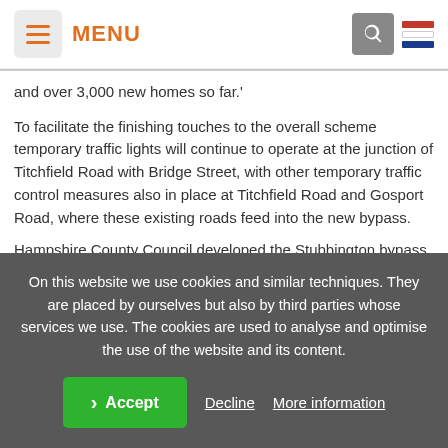MENU
and over 3,000 new homes so far.'
To facilitate the finishing touches to the overall scheme temporary traffic lights will continue to operate at the junction of Titchfield Road with Bridge Street, with other temporary traffic control measures also in place at Titchfield Road and Gosport Road, where these existing roads feed into the new bypass.
Hampshire County Council developed the Stubbington bypass
On this website we use cookies and similar techniques. They are placed by ourselves but also by third parties whose services we use. The cookies are used to analyse and optimise the use of the website and its content.
Accept | Decline | More information